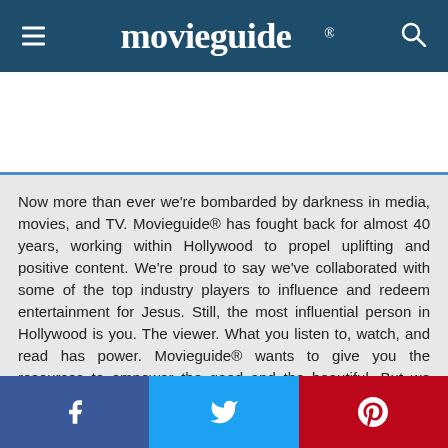movieguide®
Now more than ever we're bombarded by darkness in media, movies, and TV. Movieguide® has fought back for almost 40 years, working within Hollywood to propel uplifting and positive content. We're proud to say we've collaborated with some of the top industry players to influence and redeem entertainment for Jesus. Still, the most influential person in Hollywood is you. The viewer. What you listen to, watch, and read has power. Movieguide® wants to give you the resources to empower the good and the beautiful. But we can't do it alone. We need your support.